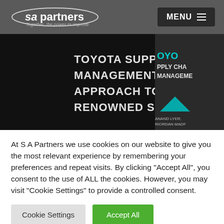[Figure (logo): SA Partners logo with oval shape and tagline 'Together, the power to improve']
[Figure (screenshot): Book cover image: Toyota Supply Chain Management: A Strategic Approach to Toyota's Renowned System, shown on dark background]
At S A Partners we use cookies on our website to give you the most relevant experience by remembering your preferences and repeat visits. By clicking "Accept All", you consent to the use of ALL the cookies. However, you may visit "Cookie Settings" to provide a controlled consent.
Cookie Settings | Accept All